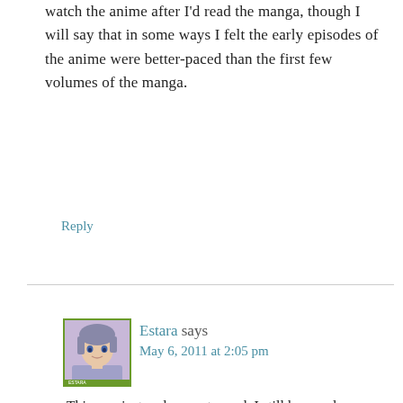watch the anime after I'd read the manga, though I will say that in some ways I felt the early episodes of the anime were better-paced than the first few volumes of the manga.
Reply
[Figure (illustration): Anime-style avatar of a character with purple/grey hair]
Estara says
May 6, 2011 at 2:05 pm
This was just a pleasure to read. I still have only watched all of the anime, but maybe I shall now invest into all volumes of Hikago. I did that with Basara, too ^^.
Reply